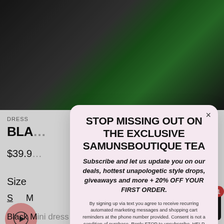[Figure (photo): E-commerce product page screenshot showing a black dress on a model with tropical plant background, partially obscured by a modal popup. Page shows DRESS label, product name BLA[CK...], price $39.9[...], size selector with S and M options, a video play button, and partial bottom text about the dress.]
STOP MISSING OUT ON THE EXCLUSIVE SAMUNSBOUTIQUE TEA
Subscribe and let us update you on our deals, hottest unapologetic style drops, giveaways and more + 20% OFF YOUR FIRST ORDER.
By signing up via text you agree to receive recurring automated marketing messages and shopping cart reminders at the phone number provided. Consent is not a condition of purchase. Reply STOP to unsubscribe. HELP for help. Msg & Data rates may apply. View Privacy Policy & ToS
Subscribe